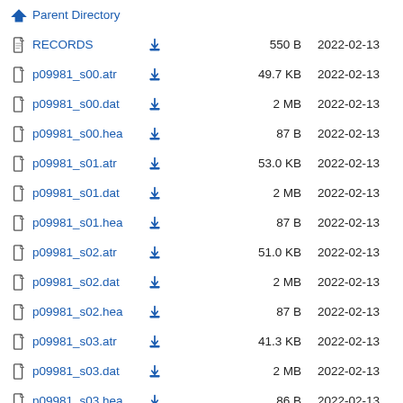Parent Directory
RECORDS  550 B  2022-02-13
p09981_s00.atr  49.7 KB  2022-02-13
p09981_s00.dat  2 MB  2022-02-13
p09981_s00.hea  87 B  2022-02-13
p09981_s01.atr  53.0 KB  2022-02-13
p09981_s01.dat  2 MB  2022-02-13
p09981_s01.hea  87 B  2022-02-13
p09981_s02.atr  51.0 KB  2022-02-13
p09981_s02.dat  2 MB  2022-02-13
p09981_s02.hea  87 B  2022-02-13
p09981_s03.atr  41.3 KB  2022-02-13
p09981_s03.dat  2 MB  2022-02-13
p09981_s03.hea  86 B  2022-02-13